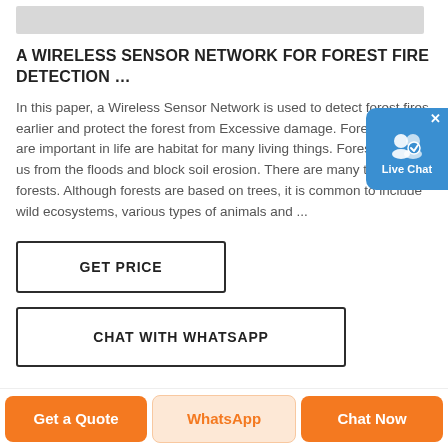[Figure (other): Gray placeholder image banner at top]
A WIRELESS SENSOR NETWORK FOR FOREST FIRE DETECTION …
In this paper, a Wireless Sensor Network is used to detect forest fires earlier and protect the forest from Excessive damage. Forests that are important in life are habitat for many living things. Forests protect us from the floods and block soil erosion. There are many types of forests. Although forests are based on trees, it is common to include wild ecosystems, various types of animals and ...
GET PRICE
CHAT WITH WHATSAPP
Get a Quote   WhatsApp   Chat Now